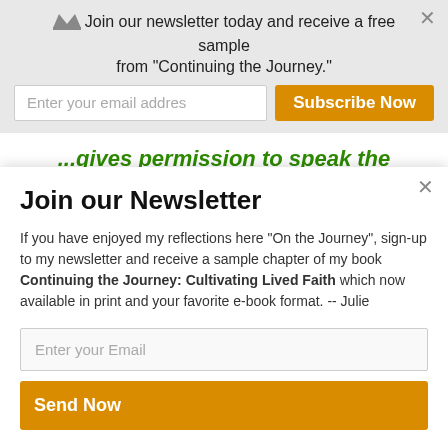Join our newsletter today and receive a free sample from "Continuing the Journey."
Enter your email addres
Subscribe Now
...gives permission to speak the truth of your heart to God...
Jesus prays, "Fat'
Join our Newsletter
If you have enjoyed my reflections here "On the Journey", sign-up to my newsletter and receive a sample chapter of my book Continuing the Journey: Cultivating Lived Faith which now available in print and your favorite e-book format. -- Julie
Enter your Email
Send Now